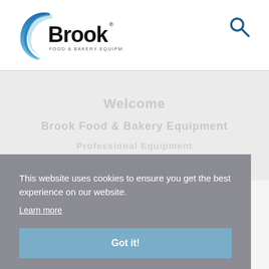[Figure (logo): Brook Food & Bakery Equipment logo with blue crescent arc and bold black text]
[Figure (other): Search magnifying glass icon in dark blue]
[Figure (other): Blurred/greyed background content area showing faint text]
This website uses cookies to ensure you get the best experience on our website.
Learn more
Got it!